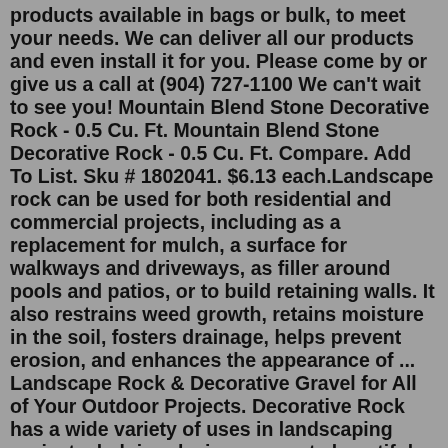products available in bags or bulk, to meet your needs. We can deliver all our products and even install it for you. Please come by or give us a call at (904) 727-1100 We can't wait to see you! Mountain Blend Stone Decorative Rock - 0.5 Cu. Ft. Mountain Blend Stone Decorative Rock - 0.5 Cu. Ft. Compare. Add To List. Sku # 1802041. $6.13 each.Landscape rock can be used for both residential and commercial projects, including as a replacement for mulch, a surface for walkways and driveways, as filler around pools and patios, or to build retaining walls. It also restrains weed growth, retains moisture in the soil, fosters drainage, helps prevent erosion, and enhances the appearance of ... Landscape Rock & Decorative Gravel for All of Your Outdoor Projects. Decorative Rock has a wide variety of uses in landscaping projects, helping designers create beautiful garden beds that are low in maintenance, reduce erosion and promote drainage. Depending on the size and composition, stone and rock can be used as filler or as decoration ...Most of the Materials Priced by the Ton